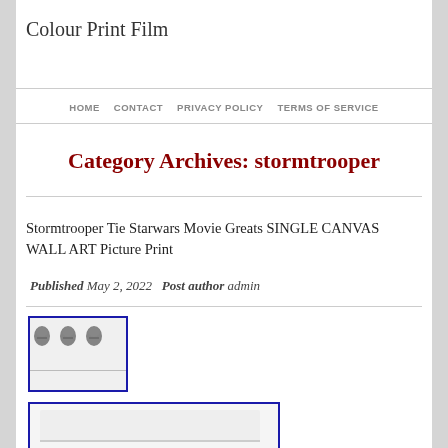Colour Print Film
HOME   CONTACT   PRIVACY POLICY   TERMS OF SERVICE
Category Archives: stormtrooper
Stormtrooper Tie Starwars Movie Greats SINGLE CANVAS WALL ART Picture Print
Published May 2, 2022  Post author admin
[Figure (photo): Thumbnail image showing three stormtrooper helmet prints on canvas, bordered in dark blue]
[Figure (photo): Partial thumbnail image showing a white canvas art piece, bordered in dark blue]